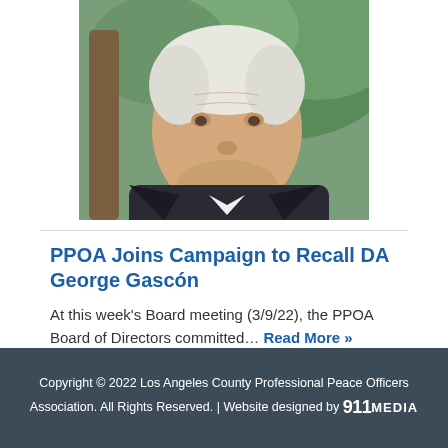[Figure (photo): Close-up photo of an older man with white hair wearing a dark suit and white shirt, with green foliage background]
PPOA Joins Campaign to Recall DA George Gascón
At this week's Board meeting (3/9/22), the PPOA Board of Directors committed… Read More »
Copyright © 2022 Los Angeles County Professional Peace Officers Association. All Rights Reserved. | Website designed by 911MEDIA